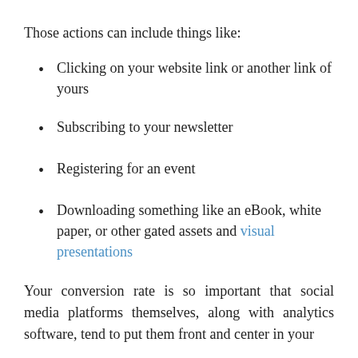Those actions can include things like:
Clicking on your website link or another link of yours
Subscribing to your newsletter
Registering for an event
Downloading something like an eBook, white paper, or other gated assets and visual presentations
Your conversion rate is so important that social media platforms themselves, along with analytics software, tend to put them front and center in your